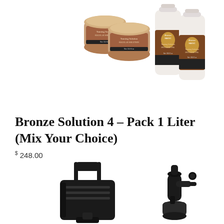[Figure (photo): Product photo showing two small brown containers of tanning solution on the left, and two tall Bronze Magic tanning solution bottles on the right, against a white background.]
Bronze Solution 4 – Pack 1 Liter (Mix Your Choice)
$ 248.00
[Figure (photo): Product photos showing two pieces of spray tanning equipment: a black portable spray tan machine with handle on the left, and a handheld spray tan gun on the right, against a white background.]